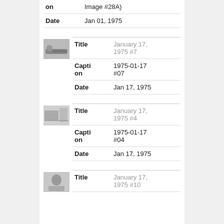| Field | Value |
| --- | --- |
| on | Image #28A) |
| Date | Jan 01, 1975 |
[Figure (photo): Small thumbnail photo of a person lying down]
| Field | Value |
| --- | --- |
| Title | January 17, 1975 #7 |
| Caption | 1975-01-17 #07 |
| Date | Jan 17, 1975 |
[Figure (photo): Small thumbnail photo of a room interior]
| Field | Value |
| --- | --- |
| Title | January 17, 1975 #4 |
| Caption | 1975-01-17 #04 |
| Date | Jan 17, 1975 |
[Figure (photo): Small thumbnail photo of a person]
| Field | Value |
| --- | --- |
| Title | January 17, 1975 #10 |